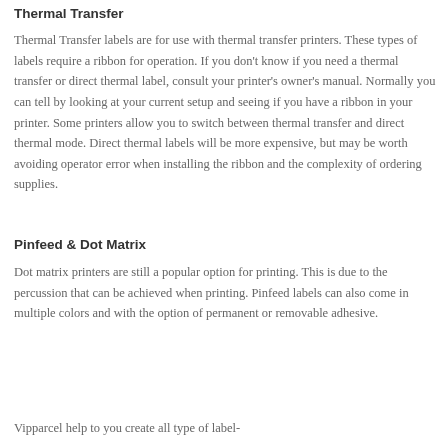Thermal Transfer
Thermal Transfer labels are for use with thermal transfer printers. These types of labels require a ribbon for operation. If you don't know if you need a thermal transfer or direct thermal label, consult your printer's owner's manual. Normally you can tell by looking at your current setup and seeing if you have a ribbon in your printer. Some printers allow you to switch between thermal transfer and direct thermal mode. Direct thermal labels will be more expensive, but may be worth avoiding operator error when installing the ribbon and the complexity of ordering supplies.
Pinfeed & Dot Matrix
Dot matrix printers are still a popular option for printing. This is due to the percussion that can be achieved when printing. Pinfeed labels can also come in multiple colors and with the option of permanent or removable adhesive.
Vipparcel help to you create all type of label-